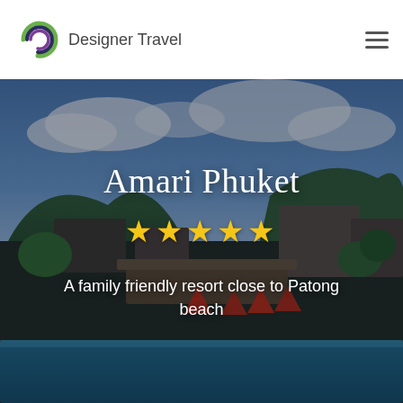[Figure (logo): Designer Travel logo with circular concentric arcs in green and purple, followed by text 'Designer Travel']
[Figure (photo): Aerial/elevated view of Amari Phuket resort with pool, red umbrellas, tropical greenery and mountains in background under blue sky with clouds]
Amari Phuket
★★★★★
A family friendly resort close to Patong beach